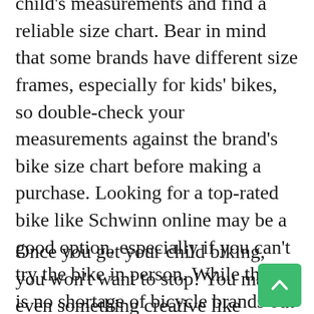child's measurements and find a reliable size chart. Bear in mind that some brands have different size frames, especially for kids' bikes, so double-check your measurements against the brand's bike size chart before making a purchase. Looking for a top-rated bike like Schwinn online may be a good option, especially if you can't try the bike in person. While there is no shortage of bicycle brands out there sticking with a tried-and-true brand like Schwinn is always a good idea.
Once you get your child biking, you won't want to stop! You may even something creative like tandem biking or bike-sharing. Or you may add a fun accent like a bell or basket. The most important thing is that you